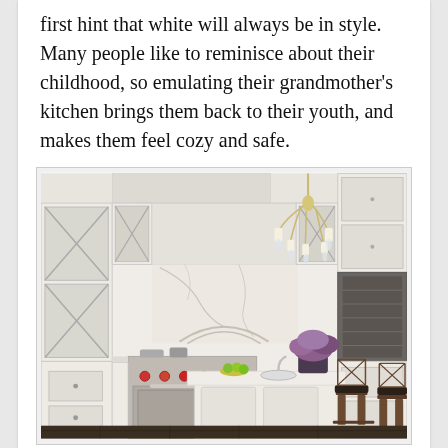first hint that white will always be in style.  Many people like to reminisce about their childhood, so emulating their grandmother's kitchen brings them back to their youth, and makes them feel cozy and safe.
[Figure (photo): A bright, all-white traditional kitchen with ornate white cabinetry featuring X-pattern glass doors, a marble backsplash with carved detail behind a large range hood, stainless steel professional range, a central island with white marble countertop, a crystal chandelier hanging from the ceiling, purple flower arrangement on the island, and dark wood barstools.]